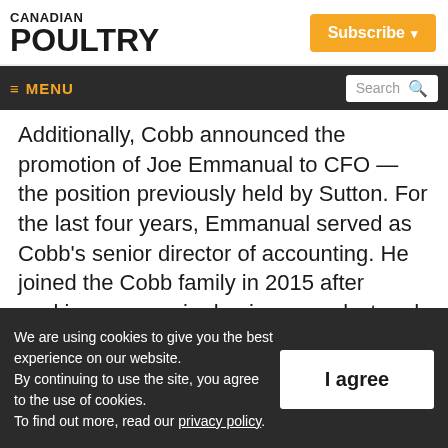CANADIAN POULTRY
Subscribe ▾
≡ MENU  Search 🔍
Additionally, Cobb announced the promotion of Joe Emmanual to CFO — the position previously held by Sutton. For the last four years, Emmanual served as Cobb's senior director of accounting. He joined the Cobb family in 2015 after working as a senior business analyst and external financial
We are using cookies to give you the best experience on our website.
By continuing to use the site, you agree to the use of cookies.
To find out more, read our privacy policy.